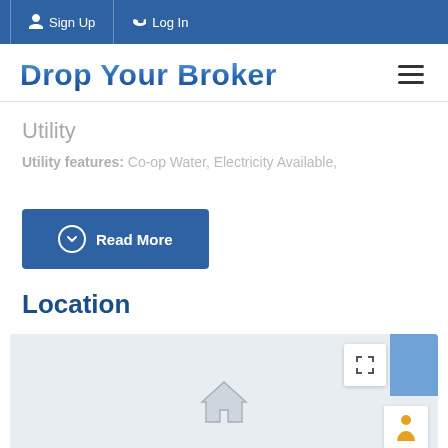Sign Up  Log In
Drop Your Broker
Utility
Utility features: Co-op Water, Electricity Available,
Read More
Location
[Figure (map): Embedded map view with fullscreen button, blue corner element, and street view person icon. A house-shaped marker is visible near the center-bottom of the map.]